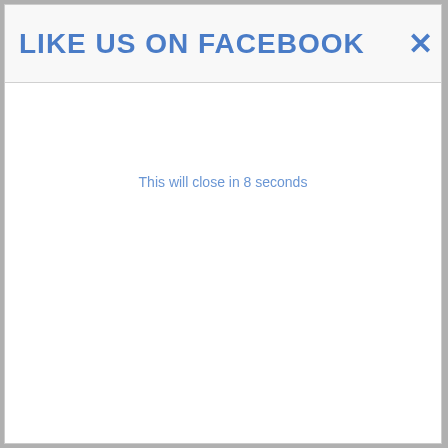LIKE US ON FACEBOOK ✕
This will close in 8 seconds